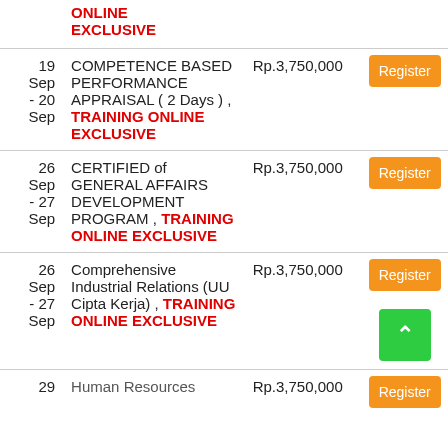| Date | Title | Price | Action |
| --- | --- | --- | --- |
|  | TRAINING ONLINE EXCLUSIVE |  |  |
| 19 Sep - 20 Sep | COMPETENCE BASED PERFORMANCE APPRAISAL ( 2 Days ) , TRAINING ONLINE EXCLUSIVE | Rp.3,750,000 | Register |
| 26 Sep - 27 Sep | CERTIFIED of GENERAL AFFAIRS DEVELOPMENT PROGRAM , TRAINING ONLINE EXCLUSIVE | Rp.3,750,000 | Register |
| 26 Sep - 27 Sep | Comprehensive Industrial Relations (UU Cipta Kerja) , TRAINING ONLINE EXCLUSIVE | Rp.3,750,000 | Register |
| 29 | Human Resources | Rp.3,750,000 | Register |